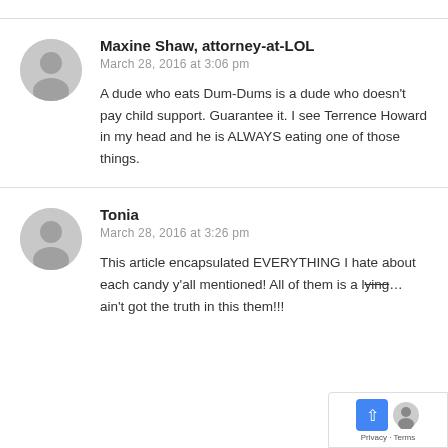[Figure (other): User avatar placeholder circle for Maxine Shaw]
Maxine Shaw, attorney-at-LOL
March 28, 2016 at 3:06 pm
A dude who eats Dum-Dums is a dude who doesn't pay child support. Guarantee it. I see Terrence Howard in my head and he is ALWAYS eating one of those things.
[Figure (other): User avatar placeholder circle for Tonia]
Tonia
March 28, 2016 at 3:26 pm
This article encapsulated EVERYTHING I hate about each candy y'all mentioned! All of them is a l... ain't got the truth in this them!!!